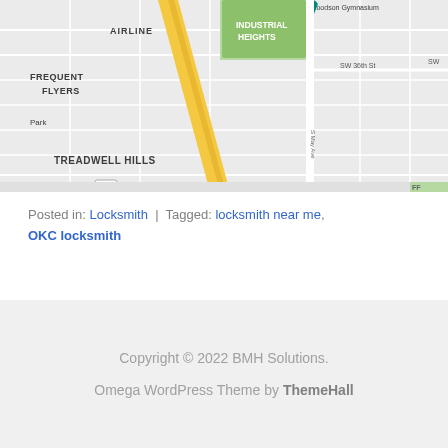[Figure (map): Google Maps screenshot showing a neighborhood map of Oklahoma City area including labels: Woodson Gymnasium, AIRLINE, INDUSTRIAL HEIGHTS, FREQUENT FLYERS, Park, TREADWELL HILLS, S May Ave, SW 36th St, route 152, and a yellow highway/road running diagonally.]
Posted in: Locksmith | Tagged: locksmith near me, OKC locksmith
Copyright © 2022 BMH Solutions.
Omega WordPress Theme by ThemeHall